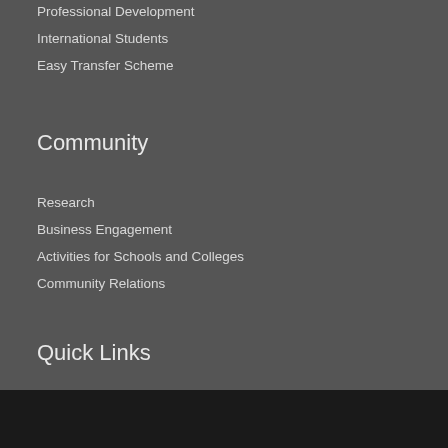Professional Development
International Students
Easy Transfer Scheme
Community
Research
Business Engagement
Activities for Schools and Colleges
Community Relations
Quick Links
Our website uses cookies to enhance your experience. By